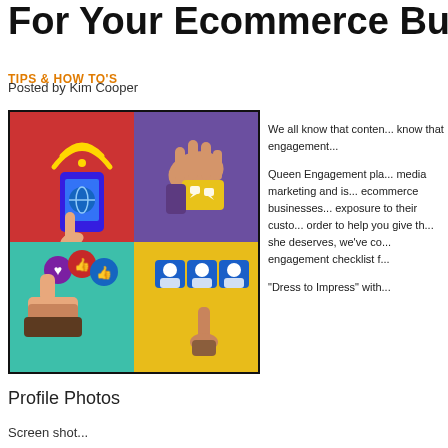For Your Ecommerce Busi...
TIPS & HOW TO'S
Posted by Kim Cooper
[Figure (illustration): Four-panel social media illustration: top-left shows a hand holding a smartphone on red background with wifi symbol; top-right shows a hand holding a chat message card on purple background; bottom-left shows a thumbs up with social media reaction icons on teal background; bottom-right shows a hand pointing at social media profile icons on yellow background.]
We all know that conten... know that engagement...
Queen Engagement pla... media marketing and is... ecommerce businesses... exposure to their custo... order to help you give th... she deserves, we've co... engagement checklist f...
“Dress to Impress” with...
Profile Photos
Screen shot...